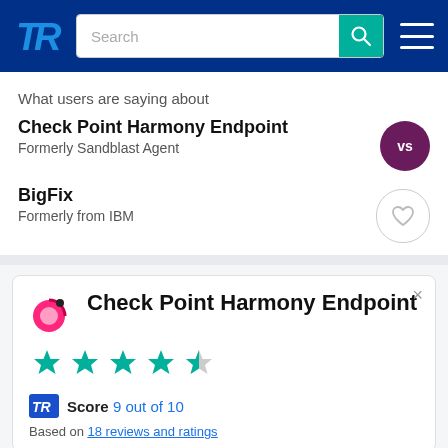TrustRadius navigation bar with search
What users are saying about
Check Point Harmony Endpoint
Formerly Sandblast Agent
BigFix
Formerly from IBM
Check Point Harmony Endpoint
[Figure (other): Star rating: approximately 4.5 out of 5 stars in teal/green color]
TR Score 9 out of 10
Based on 18 reviews and ratings